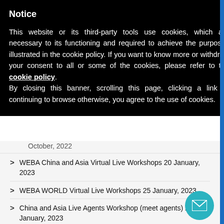Notice
This website or its third-party tools use cookies, which are necessary to its functioning and required to achieve the purposes illustrated in the cookie policy. If you want to know more or withdraw your consent to all or some of the cookies, please refer to the cookie policy.
By closing this banner, scrolling this page, clicking a link or continuing to browse otherwise, you agree to the use of cookies.
October, 2022
WEBA China and Asia Virtual Live Workshops 20 January, 2023
WEBA WORLD Virtual Live Workshops 25 January, 2023
China and Asia Live Agents Workshop (meet agents) 28 January, 2023